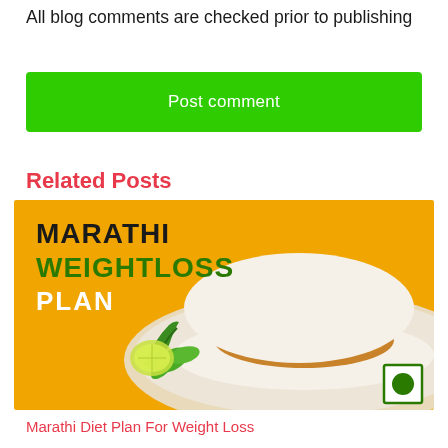All blog comments are checked prior to publishing
Post comment
Related Posts
[Figure (photo): Promotional image with orange/yellow background showing a vada pav (Indian burger) on a plate with green chilli and coriander, with text 'MARATHI WEIGHTLOSS PLAN' and an Indian flag badge in the bottom right corner.]
Marathi Diet Plan For Weight Loss